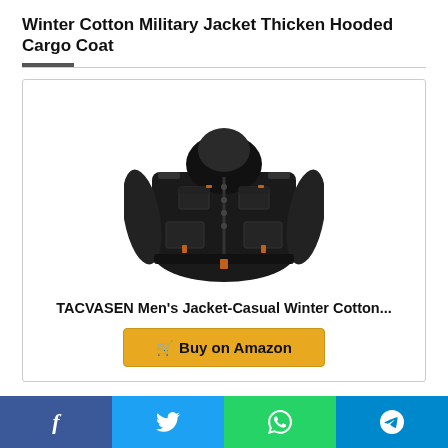Winter Cotton Military Jacket Thicken Hooded Cargo Coat
[Figure (photo): Black military-style hooded cargo jacket with multiple pockets and orange zipper accents, displayed on white background]
TACVASEN Men's Jacket-Casual Winter Cotton...
Buy on Amazon